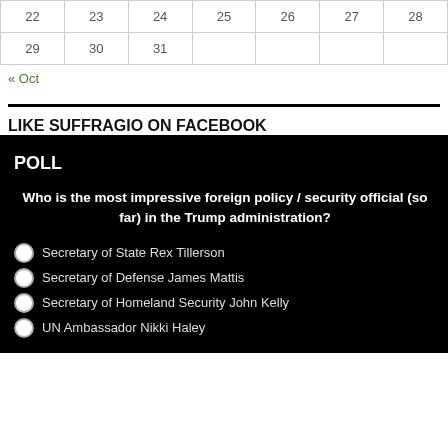| 22 | 23 | 24 | 25 | 26 | 27 | 28 |
| 29 | 30 | 31 |  |  |  |  |
« Oct
LIKE SUFFRAGIO ON FACEBOOK
POLL
Who is the most impressive foreign policy / security official (so far) in the Trump administration?
Secretary of State Rex Tillerson
Secretary of Defense James Mattis
Secretary of Homeland Security John Kelly
UN Ambassador Nikki Haley